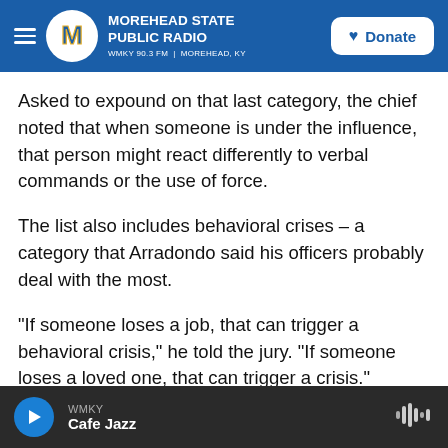Morehead State Public Radio — WMKY 90.3 FM | Morehead, KY — Donate
Asked to expound on that last category, the chief noted that when someone is under the influence, that person might react differently to verbal commands or the use of force.
The list also includes behavioral crises – a category that Arradondo said his officers probably deal with the most.
"If someone loses a job, that can trigger a behavioral crisis," he told the jury. "If someone loses a loved one, that can trigger a crisis."
WMKY — Cafe Jazz